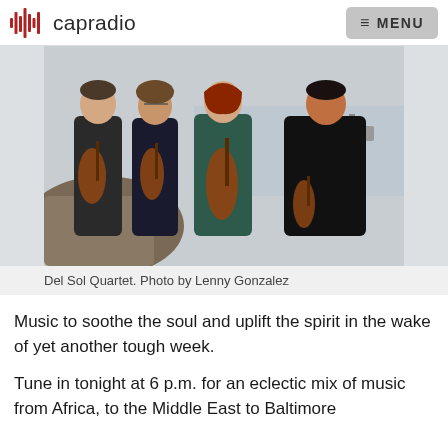capradio   MENU
[Figure (photo): Four musicians of the Del Sol Quartet standing outdoors near rocky coastline, each holding a string instrument (viola, violin, cello, violin). Three men and one woman, wearing casual clothing.]
Del Sol Quartet. Photo by Lenny Gonzalez
Music to soothe the soul and uplift the spirit in the wake of yet another tough week.
Tune in tonight at 6 p.m. for an eclectic mix of music from Africa, to the Middle East to Baltimore